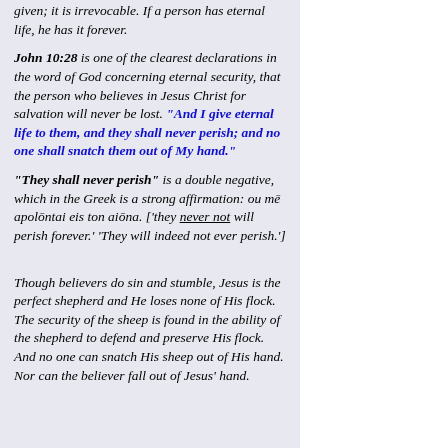given; it is irrevocable. If a person has eternal life, he has it forever.
John 10:28 is one of the clearest declarations in the word of God concerning eternal security, that the person who believes in Jesus Christ for salvation will never be lost. "And I give eternal life to them, and they shall never perish; and no one shall snatch them out of My hand."
"They shall never perish" is a double negative, which in the Greek is a strong affirmation: ou mē apolōntai eis ton aiōna. ['they never not will perish forever.' 'They will indeed not ever perish.']
Though believers do sin and stumble, Jesus is the perfect shepherd and He loses none of His flock. The security of the sheep is found in the ability of the shepherd to defend and preserve His flock. And no one can snatch His sheep out of His hand. Nor can the believer fall out of Jesus' hand.